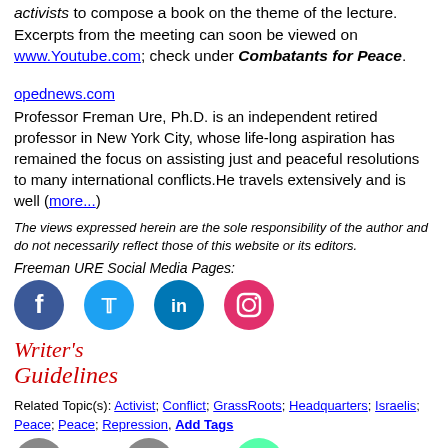activists to compose a book on the theme of the lecture. Excerpts from the meeting can soon be viewed on www.Youtube.com; check under Combatants for Peace.
opednews.com
Professor Freman Ure, Ph.D. is an independent retired professor in New York City, whose life-long aspiration has remained the focus on assisting just and peaceful resolutions to many international conflicts.He travels extensively and is well (more...)
The views expressed herein are the sole responsibility of the author and do not necessarily reflect those of this website or its editors.
Freeman URE Social Media Pages:
[Figure (other): Social media icons: Facebook, Twitter, LinkedIn, Instagram]
[Figure (other): Writer's Guidelines logo in red italic text]
Related Topic(s): Activist; Conflict; GrassRoots; Headquarters; Israelis; Peace; Peace; Repression, Add Tags
[Figure (other): Bottom row of icons: email, email, share]